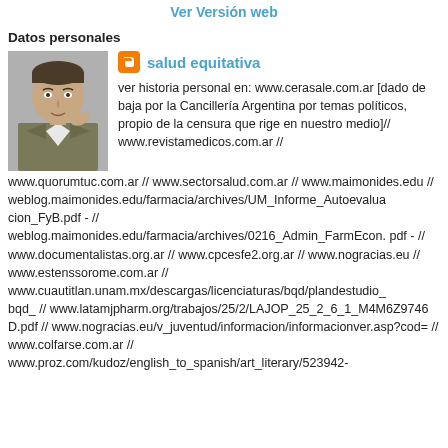Ver Versión web
Datos personales
[Figure (photo): Profile photo of a man in a suit]
salud equitativa
ver historia personal en: www.cerasale.com.ar [dado de baja por la Cancillería Argentina por temas políticos, propio de la censura que rige en nuestro medio]// www.revistamedicos.com.ar // www.quorumtuc.com.ar // www.sectorsalud.com.ar // www.maimonides.edu // weblog.maimonides.edu/farmacia/archives/UM_Informe_Autoevaluacion_FyB.pdf - // weblog.maimonides.edu/farmacia/archives/0216_Admin_FarmEcon.pdf - // www.documentalistas.org.ar // www.cpcesfe2.org.ar // www.nogracias.eu // www.estenssorome.com.ar // www.cuautitlan.unam.mx/descargas/licenciaturas/bqd/plandestudio_bqd_ // www.latamjpharm.org/trabajos/25/2/LAJOP_25_2_6_1_M4M6Z9746D.pdf // www.nogracias.eu/v_juventud/informacion/informacionver.asp?cod= // www.colfarse.com.ar // www.proz.com/kudoz/english_to_spanish/art_literary/523942-